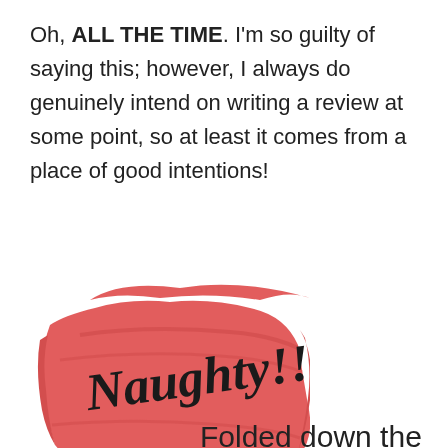Oh, ALL THE TIME. I'm so guilty of saying this; however, I always do genuinely intend on writing a review at some point, so at least it comes from a place of good intentions!
[Figure (illustration): A red brushstroke/stamp graphic with the handwritten-style text 'Naughty!!' written in black over it.]
Folded down the
Privacy & Cookies: This site uses cookies. By continuing to use this website, you agree to their use.
To find out more, including how to control cookies, see here: Cookie Policy
the page of a book that wasn't mine.